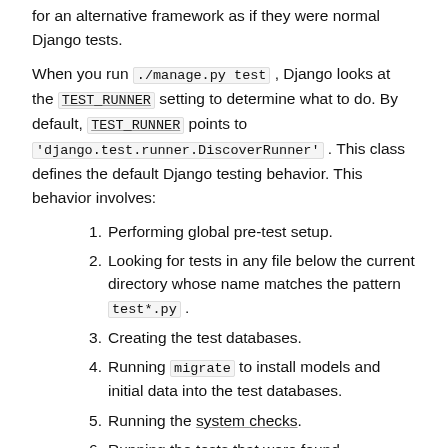for an alternative framework as if they were normal Django tests.
When you run ./manage.py test , Django looks at the TEST_RUNNER setting to determine what to do. By default, TEST_RUNNER points to 'django.test.runner.DiscoverRunner' . This class defines the default Django testing behavior. This behavior involves:
1. Performing global pre-test setup.
2. Looking for tests in any file below the current directory whose name matches the pattern test*.py .
3. Creating the test databases.
4. Running migrate to install models and initial data into the test databases.
5. Running the system checks.
6. Running the tests that were found.
7. Destroying the test databases.